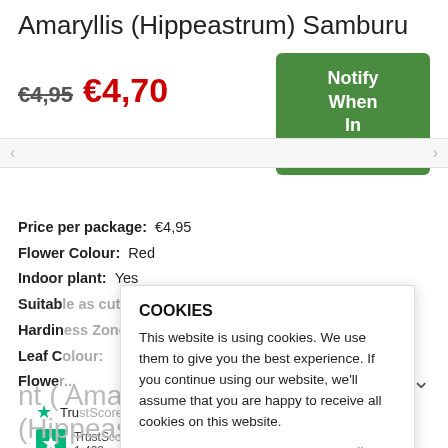Amaryllis (Hippeastrum) Samburu
€4,95  €4,70
Notify When In Stock
Price per package:   €4,95
Flower Colour:   Red
Indoor plant:   Yes
Suitable as cutting flower:   Yes
Hardiness Zone:   The 010
Leaf Colour:   ...
Flower...
TrustScore ...
TrustScore 1,428...
COOKIES
This website is using cookies. We use them to give you the best experience. If you continue using our website, we'll assume that you are happy to receive all cookies on this website.
CONTINUE   ACCEPT ALL   Decline
nt ( Amaryllis (Hippeastrum) Samburu )